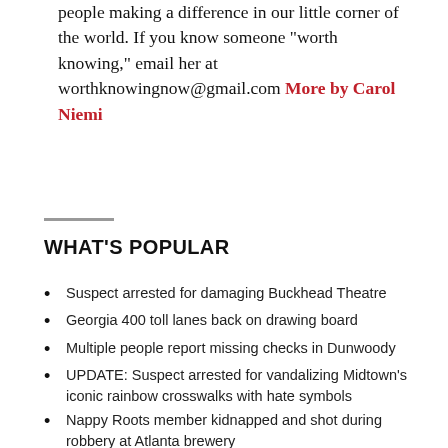people making a difference in our little corner of the world. If you know someone "worth knowing," email her at worthknowingnow@gmail.com More by Carol Niemi
WHAT'S POPULAR
Suspect arrested for damaging Buckhead Theatre
Georgia 400 toll lanes back on drawing board
Multiple people report missing checks in Dunwoody
UPDATE: Suspect arrested for vandalizing Midtown's iconic rainbow crosswalks with hate symbols
Nappy Roots member kidnapped and shot during robbery at Atlanta brewery